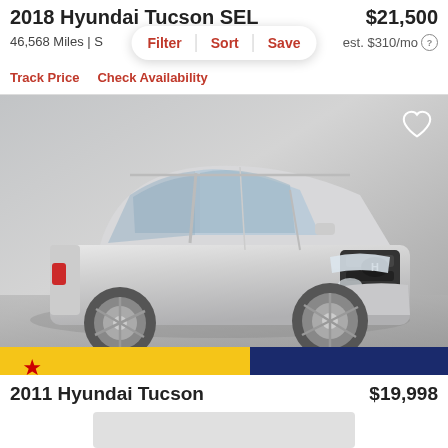2018 Hyundai Tucson SEL
$21,500
46,568 Miles | S
est. $310/mo
Filter   Sort   Save
Track Price   Check Availability
[Figure (photo): Silver 2018 Hyundai Tucson SEL SUV photographed from front-left angle in a studio setting, with yellow and dark blue banner at bottom]
2011 Hyundai Tucson
$19,998
[Figure (photo): Placeholder gray rectangle for second car listing image]